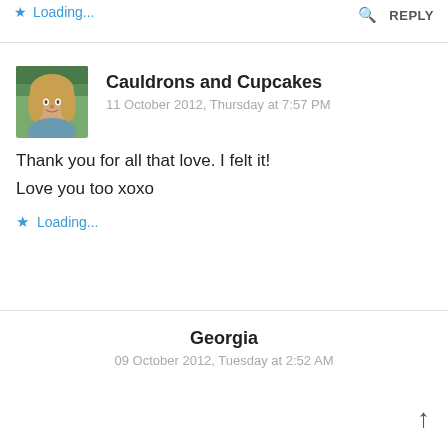Loading...
REPLY
[Figure (photo): Profile photo of a woman with curly blond hair outdoors]
Cauldrons and Cupcakes
11 October 2012, Thursday at 7:57 PM
Thank you for all that love. I felt it!
Love you too xoxo
Loading...
Georgia
09 October 2012, Tuesday at 2:52 AM